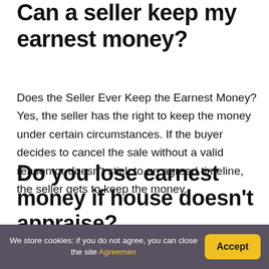Can a seller keep my earnest money?
Does the Seller Ever Keep the Earnest Money? Yes, the seller has the right to keep the money under certain circumstances. If the buyer decides to cancel the sale without a valid reason or doesn't stick to an agreed timeline, the seller gets to keep the money.
Do you lose earnest money if house doesn't appraise?
If the home appraisal is lower than the agreed upon
We store cookies: if you do not agree, you can close the site Agreemen